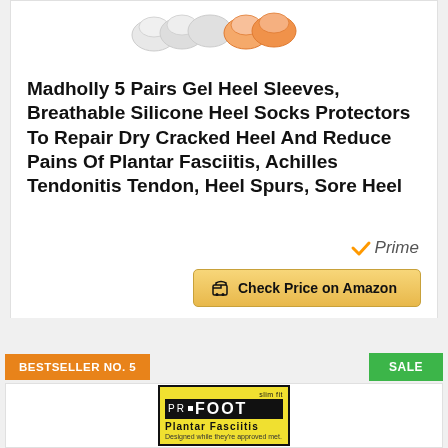[Figure (photo): Product image of gel heel sleeves, showing white/clear and orange colored silicone heel socks]
Madholly 5 Pairs Gel Heel Sleeves, Breathable Silicone Heel Socks Protectors To Repair Dry Cracked Heel And Reduce Pains Of Plantar Fasciitis, Achilles Tendonitis Tendon, Heel Spurs, Sore Heel
[Figure (logo): Amazon Prime logo with checkmark]
Check Price on Amazon
BESTSELLER NO. 5
SALE
[Figure (photo): PROFOOT Plantar Fasciitis product box, black and yellow packaging]